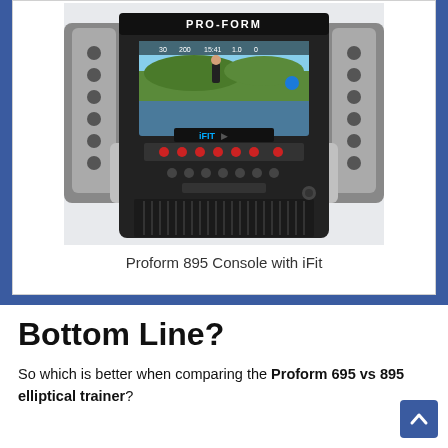[Figure (photo): Photo of a ProForm 895 elliptical trainer console showing the iFit display screen with a landscape scene and a runner, surrounded by control buttons and silver handles.]
Proform 895 Console with iFit
Bottom Line?
So which is better when comparing the Proform 695 vs 895 elliptical trainer?